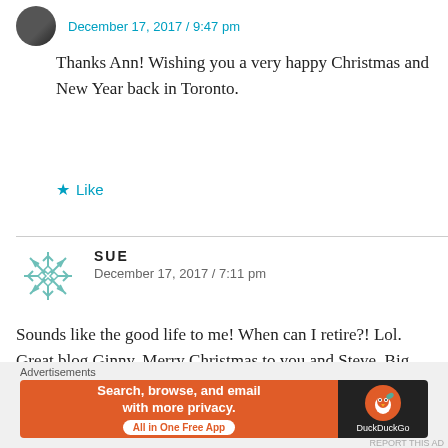December 17, 2017 / 9:47 pm
Thanks Ann! Wishing you a very happy Christmas and New Year back in Toronto.
Like
SUE
December 17, 2017 / 7:11 pm
Sounds like the good life to me! When can I retire?! Lol. Great blog Ginny. Merry Christmas to you and Steve. Big hugs and happy travels in 2018. Cheers! xo
Like
[Figure (infographic): DuckDuckGo advertisement banner: Search, browse, and email with more privacy. All in One Free App. DuckDuckGo logo on dark background.]